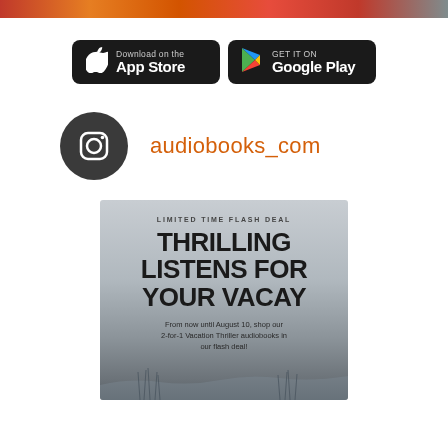[Figure (illustration): Colorful horizontal strip of book covers or app banner at top]
[Figure (illustration): App Store and Google Play download buttons side by side on black rounded rectangles]
[Figure (logo): Instagram logo in dark circle followed by orange text handle: audiobooks_com]
[Figure (infographic): Limited Time Flash Deal promotional image with misty beach background. Text: LIMITED TIME FLASH DEAL / THRILLING LISTENS FOR YOUR VACAY / From now until August 10, shop our 2-for-1 Vacation Thriller audiobooks in our flash deal!]